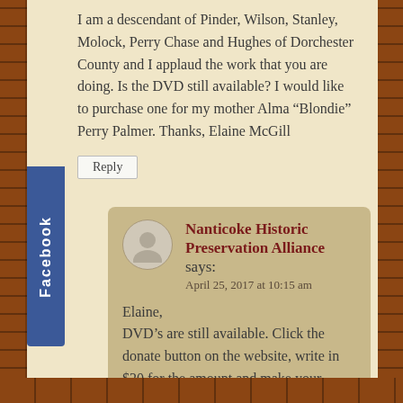I am a descendant of Pinder, Wilson, Stanley, Molock, Perry Chase and Hughes of Dorchester County and I applaud the work that you are doing. Is the DVD still available? I would like to purchase one for my mother Alma “Blondie” Perry Palmer. Thanks, Elaine McGill
Reply
Nanticoke Historic Preservation Alliance says: April 25, 2017 at 10:15 am
Elaine, DVD’s are still available. Click the donate button on the website, write in $20 for the amount and make your payment. We will mail them out within two weeks. If any problems, please let us know. Thank you for your interest and support!